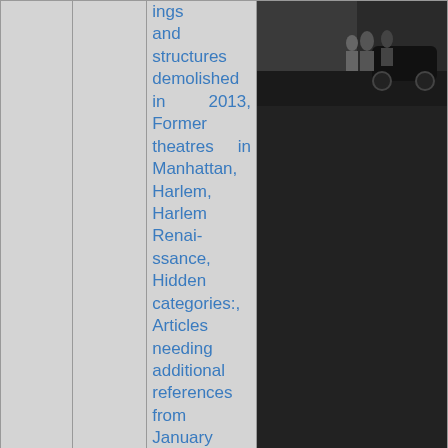ings and structures demolished in 2013, Former theatres in Manhattan, Harlem, Harlem Renaissance, Hidden categories:, Articles needing additional references from January 2015, All articles needing additional references, Commons category without a link on Wikidata, Coordinates on Wikidata,
[Figure (photo): Black and white historical photo of people standing near a car on a street]
22: 1088.3mi
Harlem YMCA
National Historic Landmarks in New York City, Residential
[Figure (photo): Photo of a building with architectural details, light background]